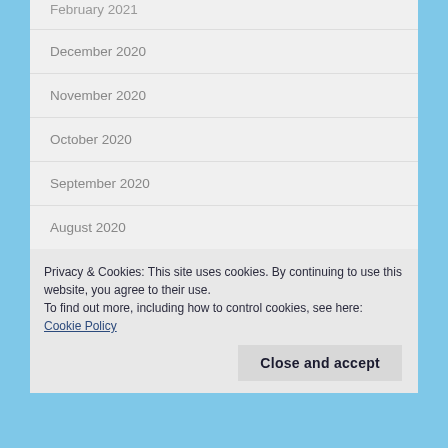February 2021
December 2020
November 2020
October 2020
September 2020
August 2020
July 2020
June 2020
Privacy & Cookies: This site uses cookies. By continuing to use this website, you agree to their use.
To find out more, including how to control cookies, see here: Cookie Policy
Close and accept